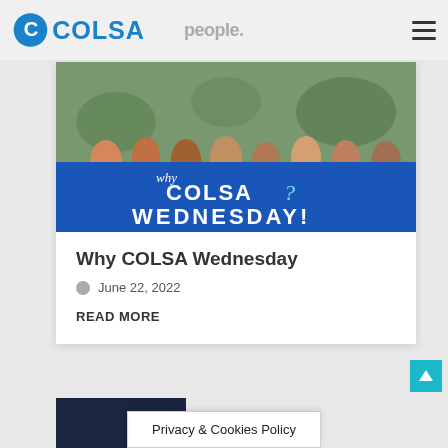COLSA — High-performance people.
[Figure (photo): Outdoor group gathering of people, overlaid with blue banner reading 'why COLSA? WEDNESDAY!']
Why COLSA Wednesday
June 22, 2022
READ MORE
Privacy & Cookies Policy